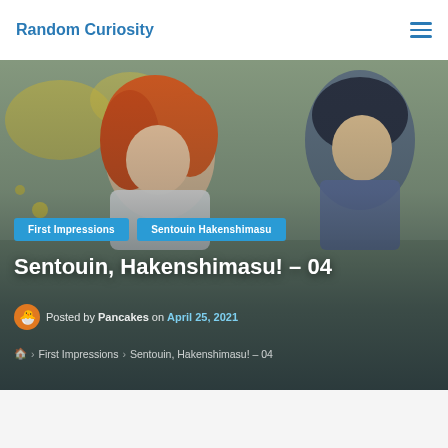Random Curiosity
[Figure (illustration): Anime-style illustration used as hero background image featuring anime characters with red/orange hair on a colorful illustrated background]
First Impressions
Sentouin Hakenshimasu
Sentouin, Hakenshimasu! – 04
Posted by Pancakes on April 25, 2021
🏠 › First Impressions › Sentouin, Hakenshimasu! – 04